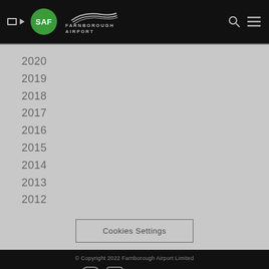SAF | Farnborough Airport
2020
2019
2018
2017
2016
2015
2014
2013
2012
Cookies Settings
© Copyright 2022 Farnborough Airport Limited | FOLLOW US | Site Map / Disclaimer / Privacy Notices / Cookie Policy